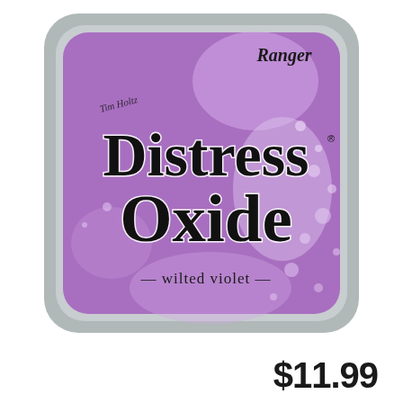[Figure (photo): Ranger Distress Oxide ink pad in 'wilted violet' color. Square tin with rounded corners, grey metallic border, purple/violet background with watercolor splatter effect. Text reads 'Ranger' in top right, 'Distress Oxide' in large distressed black lettering, '-- wilted violet --' below.]
$11.99